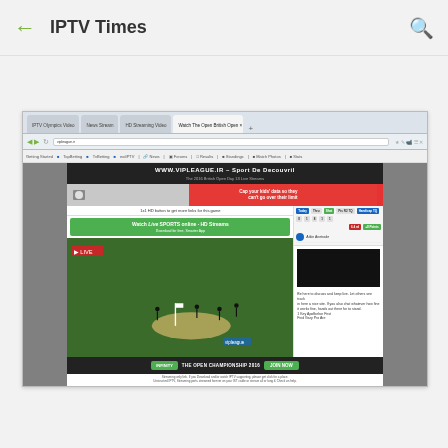IPTV Times
[Figure (screenshot): Screenshot of a web browser showing a sports streaming website (www.vipleague.ir) with a golf video stream playing, match stats sidebar, and advertisement banners.]